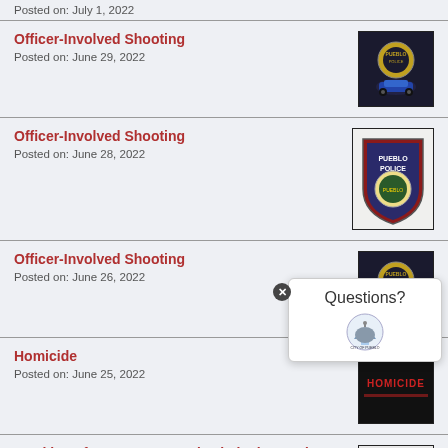Posted on: July 1, 2022
Officer-Involved Shooting
Posted on: June 29, 2022
Officer-Involved Shooting
Posted on: June 28, 2022
Officer-Involved Shooting
Posted on: June 26, 2022
Homicide
Posted on: June 25, 2022
Weekly Safe Streets Wanted Criminal Round-Up
Posted on: June 24, 2022